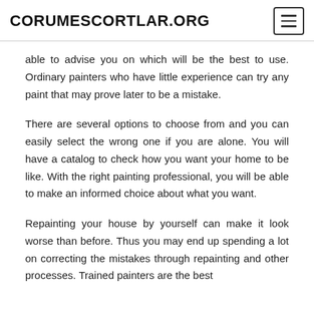CORUMESCORTLAR.ORG
able to advise you on which will be the best to use. Ordinary painters who have little experience can try any paint that may prove later to be a mistake.
There are several options to choose from and you can easily select the wrong one if you are alone. You will have a catalog to check how you want your home to be like. With the right painting professional, you will be able to make an informed choice about what you want.
Repainting your house by yourself can make it look worse than before. Thus you may end up spending a lot on correcting the mistakes through repainting and other processes. Trained painters are the best